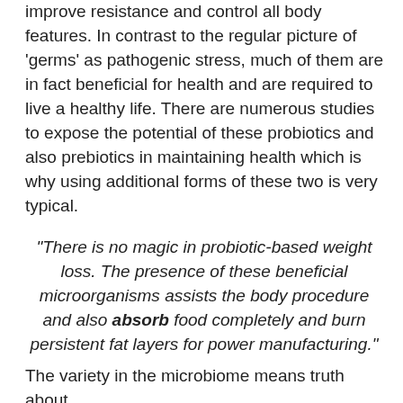improve resistance and control all body features. In contrast to the regular picture of 'germs' as pathogenic stress, much of them are in fact beneficial for health and are required to live a healthy life. There are numerous studies to expose the potential of these probiotics and also prebiotics in maintaining health which is why using additional forms of these two is very typical.
“There is no magic in probiotic-based weight loss. The presence of these beneficial microorganisms assists the body procedure and also absorb food completely and burn persistent fat layers for power manufacturing.”
The variety in the microbiome means truth about